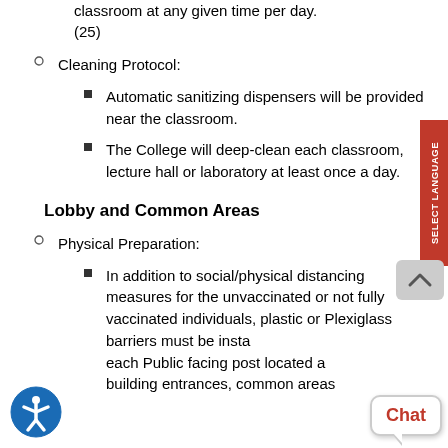classroom at any given time per day. (25)
Cleaning Protocol:
Automatic sanitizing dispensers will be provided near the classroom.
The College will deep-clean each classroom, lecture hall or laboratory at least once a day.
Lobby and Common Areas
Physical Preparation:
In addition to social/physical distancing measures for the unvaccinated or not fully vaccinated individuals, plastic or Plexiglass barriers must be installed at each Public facing post located at building entrances, common areas